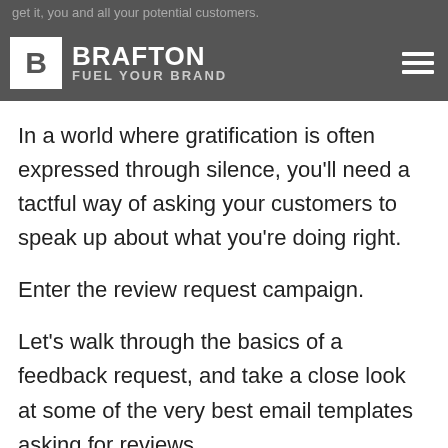get it, you and all your potential customers.
[Figure (logo): Brafton logo with 'B' in white box and text 'BRAFTON FUEL YOUR BRAND' on dark grey navbar background, with hamburger menu icon on right]
In a world where gratification is often expressed through silence, you'll need a tactful way of asking your customers to speak up about what you're doing right.
Enter the review request campaign.
Let's walk through the basics of a feedback request, and take a close look at some of the very best email templates asking for reviews.